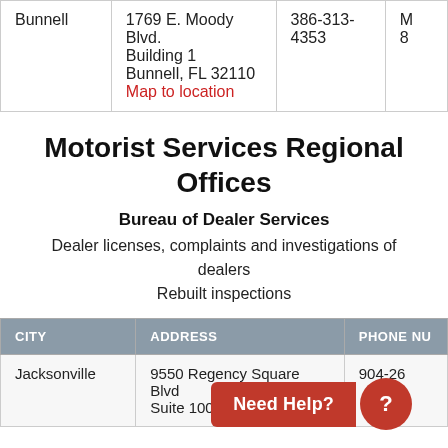| CITY | ADDRESS | PHONE NUMBER |  |
| --- | --- | --- | --- |
| Bunnell | 1769 E. Moody Blvd.
Building 1
Bunnell, FL 32110
Map to location | 386-313-4353 | M...
8... |
Motorist Services Regional Offices
Bureau of Dealer Services
Dealer licenses, complaints and investigations of dealers
Rebuilt inspections
| CITY | ADDRESS | PHONE NU... |
| --- | --- | --- |
| Jacksonville | 9550 Regency Square Blvd Suite 100 | 904-...26 |